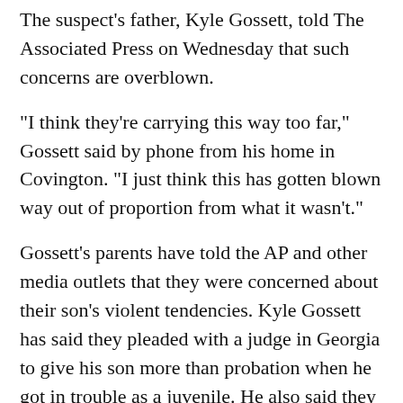The suspect's father, Kyle Gossett, told The Associated Press on Wednesday that such concerns are overblown.
"I think they're carrying this way too far," Gossett said by phone from his home in Covington. "I just think this has gotten blown way out of proportion from what it wasn't."
Gossett's parents have told the AP and other media outlets that they were concerned about their son's violent tendencies. Kyle Gossett has said they pleaded with a judge in Georgia to give his son more than probation when he got in trouble as a juvenile. He also said they got a judge to order a mental evaluation, but that turned up nothing and his son was released.
Lisa Fox, the boy's mother and Kyle Gossett's ex-wife,